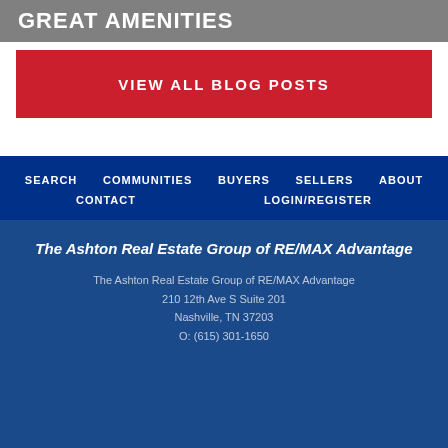GREAT AMENITIES
VIEW ALL BLOG POSTS
SEARCH
COMMUNITIES
BUYERS
SELLERS
ABOUT
CONTACT
LOGIN/REGISTER
The Ashton Real Estate Group of RE/MAX Advantage
The Ashton Real Estate Group of RE/MAX Advantage
210 12th Ave S Suite 201
Nashville, TN 37203
O: (615) 301-1650